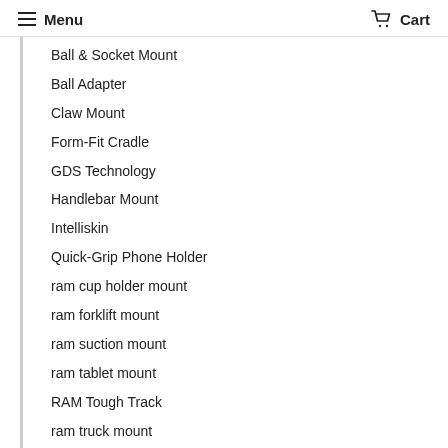Menu   Cart
Ball & Socket Mount
Ball Adapter
Claw Mount
Form-Fit Cradle
GDS Technology
Handlebar Mount
Intelliskin
Quick-Grip Phone Holder
ram cup holder mount
ram forklift mount
ram suction mount
ram tablet mount
RAM Tough Track
ram truck mount
ram vehicle mount
RAM X-Grip
Samsung Galaxy Tab